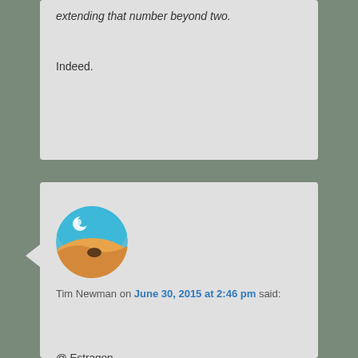extending that number beyond two.
Indeed.
[Figure (illustration): Circular avatar icon showing a desert landscape with sand dunes, blue sky, and a white sun/moon.]
Tim Newman on June 30, 2015 at 2:46 pm said:
@ Estragon,

Thanks for your clarification…I confess, I am on weak ground when it comes to writing about affirmative action. I was basing my comments on the recent decision by an American court to reject the complaint of an Asian student who